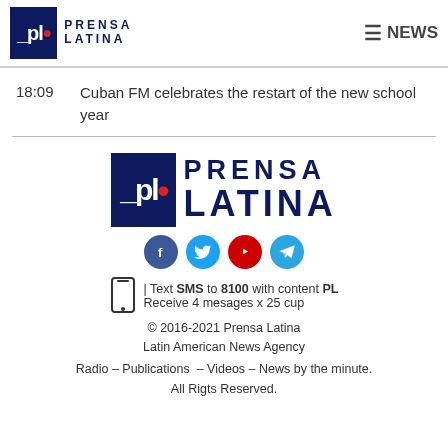Prensa Latina | NEWS
18:09  Cuban FM celebrates the restart of the new school year
[Figure (logo): Prensa Latina large footer logo with social media icons (Facebook, Twitter, YouTube, Telegram)]
| Text SMS to 8100 with content PL
Receive 4 mesages x 25 cup
© 2016-2021 Prensa Latina
Latin American News Agency
Radio – Publications  – Videos – News by the minute.
All Rigts Reserved.